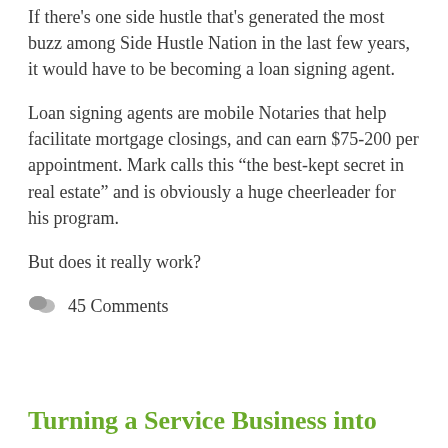If there's one side hustle that's generated the most buzz among Side Hustle Nation in the last few years, it would have to be becoming a loan signing agent.
Loan signing agents are mobile Notaries that help facilitate mortgage closings, and can earn $75-200 per appointment. Mark calls this “the best-kept secret in real estate” and is obviously a huge cheerleader for his program.
But does it really work?
45 Comments
Turning a Service Business into